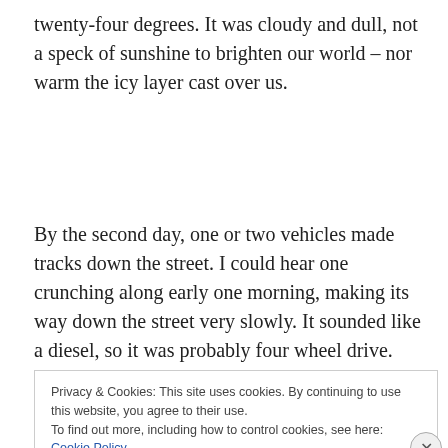twenty-four degrees. It was cloudy and dull, not a speck of sunshine to brighten our world – nor warm the icy layer cast over us.
By the second day, one or two vehicles made tracks down the street. I could hear one crunching along early one morning, making its way down the street very slowly. It sounded like a diesel, so it was probably four wheel drive.
Privacy & Cookies: This site uses cookies. By continuing to use this website, you agree to their use.
To find out more, including how to control cookies, see here: Cookie Policy
Close and accept